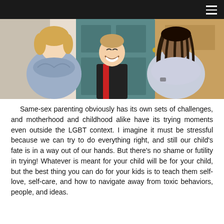[Figure (photo): A family photo showing a woman on the left in a blue/gray ruffled top, a young smiling boy in the center wearing a black and red jacket, and a man on the right in a light blue shirt, standing in front of a teal/blue door with wooden elements.]
Same-sex parenting obviously has its own sets of challenges, and motherhood and childhood alike have its trying moments even outside the LGBT context. I imagine it must be stressful because we can try to do everything right, and still our child's fate is in a way out of our hands. But there's no shame or futility in trying! Whatever is meant for your child will be for your child, but the best thing you can do for your kids is to teach them self-love, self-care, and how to navigate away from toxic behaviors, people, and ideas.